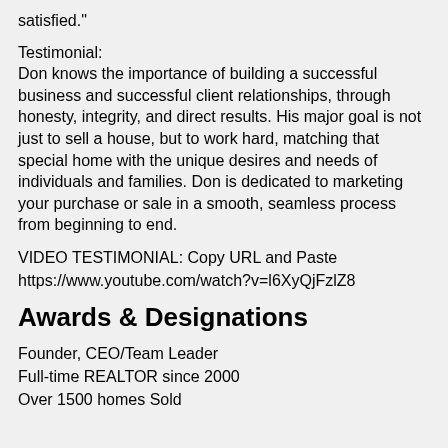satisfied."
Testimonial:
Don knows the importance of building a successful business and successful client relationships, through honesty, integrity, and direct results. His major goal is not just to sell a house, but to work hard, matching that special home with the unique desires and needs of individuals and families. Don is dedicated to marketing your purchase or sale in a smooth, seamless process from beginning to end.
VIDEO TESTIMONIAL: Copy URL and Paste
https://www.youtube.com/watch?v=l6XyQjFzlZ8
Awards & Designations
Founder, CEO/Team Leader
Full-time REALTOR since 2000
Over 1500 homes Sold